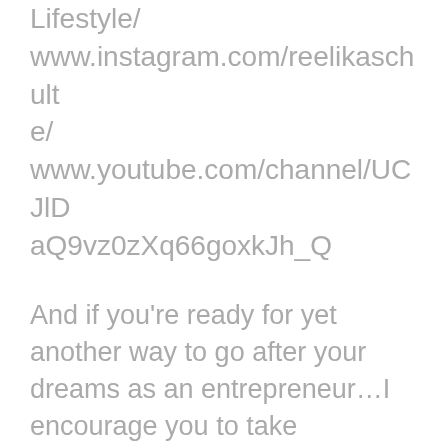Lifestyle/ www.instagram.com/reelikaschulte/ www.youtube.com/channel/UCJIDaQ9vz0zXq66goxkJh_Q
And if you're ready for yet another way to go after your dreams as an entrepreneur…I encourage you to take advantage of an EXCLUSIVE OFFER I am doing right now! I am giving away access to my 90-Day Action Planner that will help you…